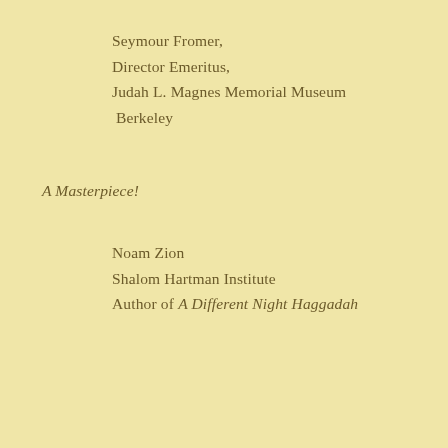Seymour Fromer,
Director Emeritus,
Judah L. Magnes Memorial Museum
Berkeley
A Masterpiece!
Noam Zion
Shalom Hartman Institute
Author of A Different Night Haggadah